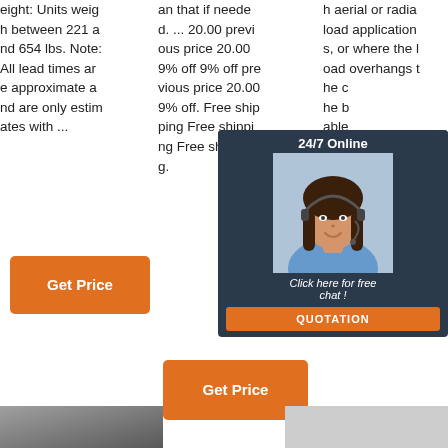eight: Units weigh between 221 and 654 lbs. Note: All lead times are approximate and are only estimates with ...
an that if needed. ... 20.00 previous price 20.00 9% off 9% off previous price 20.00 9% off. Free shipping Free shipping Free shipping.
h aerial or radial load applications, or where the load overhangs the h bolt, where applicable for most free configurable g.
[Figure (screenshot): Live chat widget overlay with '24/7 Online' header, customer service representative photo, 'Click here for free chat!' text, and 'QUOTATION' button]
Get Price
Get Price
Get Price
[Figure (photo): Partial product image, dark/grey tones, bottom left]
[Figure (photo): Partial product image, light grey tones, bottom right]